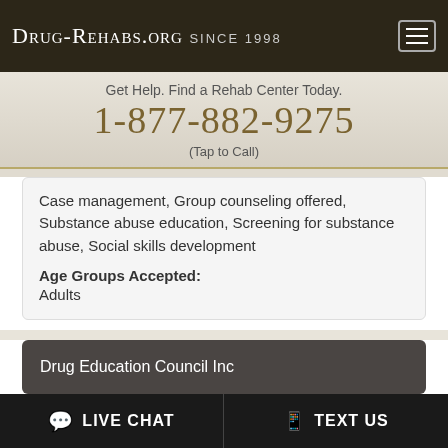Drug-Rehabs.org Since 1998
Get Help. Find a Rehab Center Today.
1-877-882-9275
(Tap to Call)
Case management, Group counseling offered, Substance abuse education, Screening for substance abuse, Social skills development
Age Groups Accepted: Adults
Drug Education Council Inc
LIVE CHAT
TEXT US